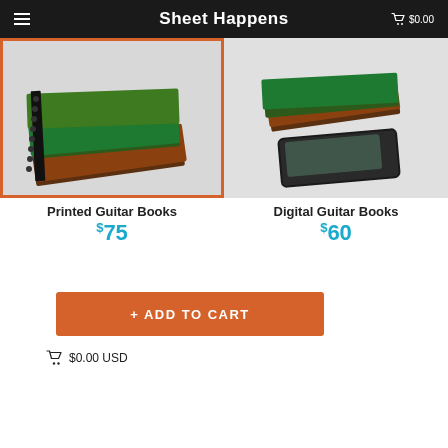Sheet Happens  $0.00
[Figure (photo): Printed guitar books stack with spiral binding, shown from an angle]
Printed Guitar Books
$75
[Figure (photo): Digital guitar books on a tablet device, shown from an angle]
Digital Guitar Books
$60
+ ADD TO CART
$0.00 USD